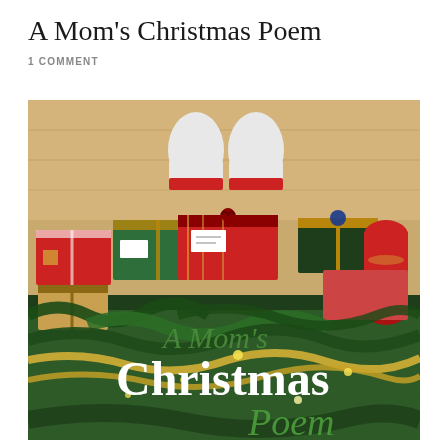A Mom's Christmas Poem
1 COMMENT
[Figure (photo): Overhead photo of Christmas presents wrapped in red and green paper arranged around a Christmas tree with tinsel, with someone's sock-covered feet visible at the top. Text overlay reads 'A Mom's Christmas Poem' in green italic and white bold lettering.]